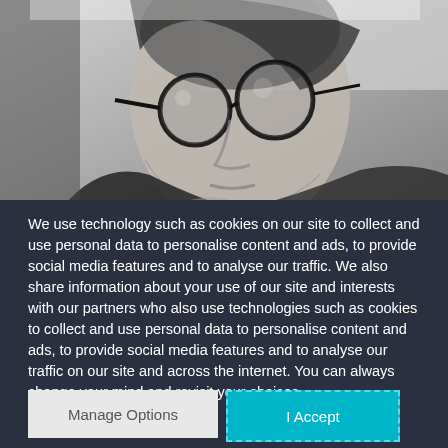[Figure (photo): Black and white close-up photograph of an older man wearing round glasses, looking slightly upward.]
We use technology such as cookies on our site to collect and use personal data to personalise content and ads, to provide social media features and to analyse our traffic. We also share information about your use of our site and interests with our partners who also use technologies such as cookies to collect and use personal data to personalise content and ads, to provide social media features and to analyse our traffic on our site and across the internet. You can always change your mind and revisit your choices.
Manage Options
I Accept